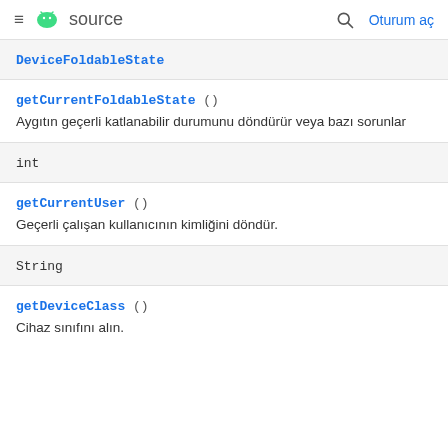≡ 🤖 source   🔍 Oturum aç
DeviceFoldableState
getCurrentFoldableState ()
Aygıtın geçerli katlanabilir durumunu döndürür veya bazı sorunla...
int
getCurrentUser ()
Geçerli çalışan kullanıcının kimliğini döndür.
String
getDeviceClass ()
Cihaz sınıfını alın.